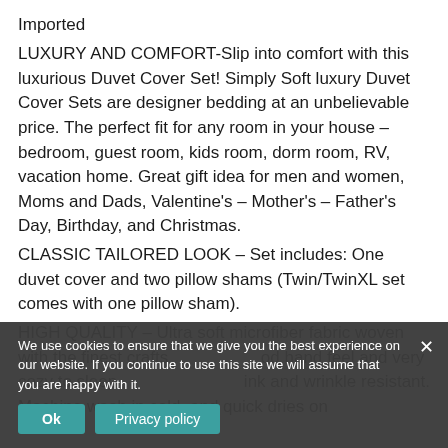Imported
LUXURY AND COMFORT-Slip into comfort with this luxurious Duvet Cover Set! Simply Soft luxury Duvet Cover Sets are designer bedding at an unbelievable price. The perfect fit for any room in your house – bedroom, guest room, kids room, dorm room, RV, vacation home. Great gift idea for men and women, Moms and Dads, Valentine's – Mother's – Father's Day, Birthday, and Christmas.
CLASSIC TAILORED LOOK – Set includes: One duvet cover and two pillow shams (Twin/TwinXL set comes with one pillow sham).
HIGH QUALITY – Ultra soft microfiber fabric woven with the finest craftsmanship, good hand feel and very cozy to sleep. Fade, stain, shrink and wrinkle resistant. Machine wash in cold, and quick dries on
We use cookies to ensure that we give you the best experience on our website. If you continue to use this site we will assume that you are happy with it.